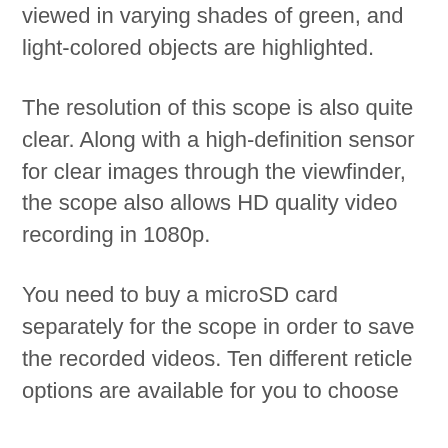viewed in varying shades of green, and light-colored objects are highlighted.
The resolution of this scope is also quite clear. Along with a high-definition sensor for clear images through the viewfinder, the scope also allows HD quality video recording in 1080p.
You need to buy a microSD card separately for the scope in order to save the recorded videos. Ten different reticle options are available for you to choose